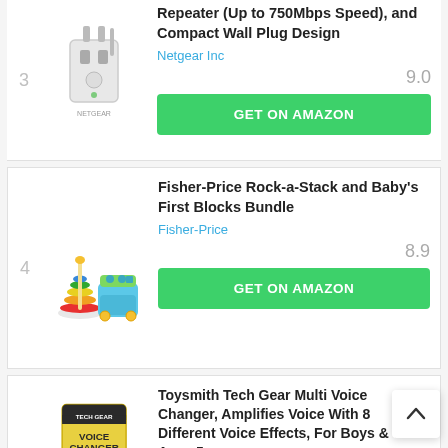3
[Figure (photo): WiFi range extender / wall plug device, white, shown plugged into wall outlet]
Repeater (Up to 750Mbps Speed), and Compact Wall Plug Design
Netgear Inc
9.0
GET ON AMAZON
4
[Figure (photo): Fisher-Price Rock-a-Stack toy with colorful rings and Baby's First Blocks toy with shape holes]
Fisher-Price Rock-a-Stack and Baby's First Blocks Bundle
Fisher-Price
8.9
GET ON AMAZON
5
[Figure (photo): Toysmith Tech Gear voice changer toy in yellow/blue packaging]
Toysmith Tech Gear Multi Voice Changer, Amplifies Voice With 8 Different Voice Effects, For Boys & Girls Ages 5+
Toy Smith